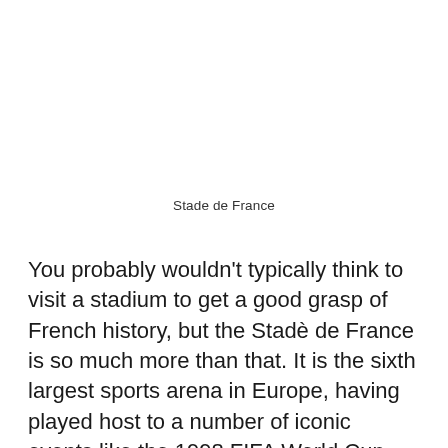Stade de France
You probably wouldn't typically think to visit a stadium to get a good grasp of French history, but the Stadè de France is so much more than that. It is the sixth largest sports arena in Europe, having played host to a number of iconic events like the 1998 FIFA World Cup. Coral reports how France won the tournament that year when they defeated